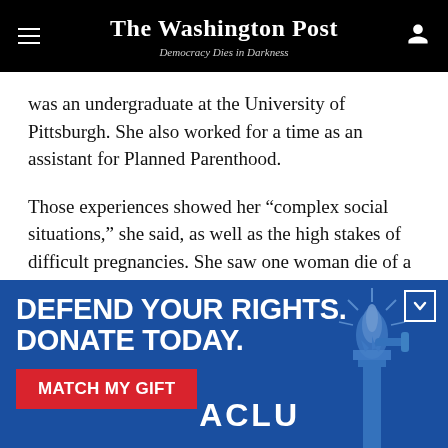The Washington Post — Democracy Dies in Darkness
was an undergraduate at the University of Pittsburgh. She also worked for a time as an assistant for Planned Parenthood.
Those experiences showed her “complex social situations,” she said, as well as the high stakes of difficult pregnancies. She saw one woman die of a rare condition during childbirth and comforted her husband after and Another time she kept a 13-year-old
[Figure (advertisement): ACLU advertisement banner with blue background. Bold white text reads DEFEND YOUR RIGHTS. DONATE TODAY. Red button reads MATCH MY GIFT. ACLU logo in white. Statue of Liberty torch illustration on right side.]